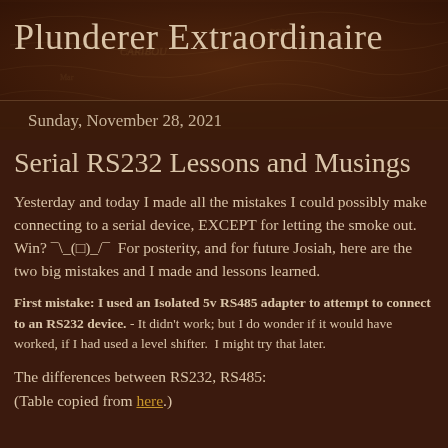Plunderer Extraordinaire
Sunday, November 28, 2021
Serial RS232 Lessons and Musings
Yesterday and today I made all the mistakes I could possibly make connecting to a serial device, EXCEPT for letting the smoke out.   Win? ¯\_(ツ)_/¯  For posterity, and for future Josiah, here are the two big mistakes and I made and lessons learned.
First mistake: I used an Isolated 5v RS485 adapter to attempt to connect to an RS232 device. - It didn't work; but I do wonder if it would have worked, if I had used a level shifter.  I might try that later.
The differences between RS232, RS485:
(Table copied from here.)